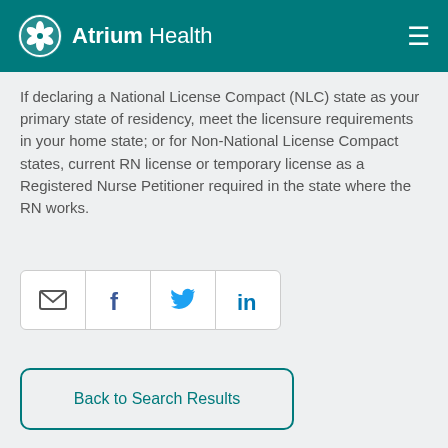Atrium Health
If declaring a National License Compact (NLC) state as your primary state of residency, meet the licensure requirements in your home state; or for Non-National License Compact states, current RN license or temporary license as a Registered Nurse Petitioner required in the state where the RN works.
[Figure (other): Social share buttons row: email envelope icon, Facebook icon, Twitter bird icon, LinkedIn icon]
Back to Search Results